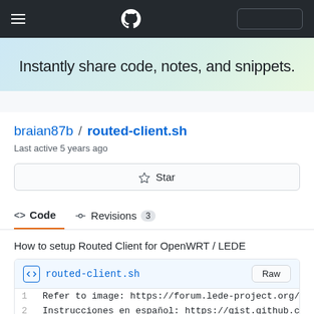[Figure (screenshot): GitHub mobile navigation bar with hamburger menu, GitHub logo, and search box on dark background]
Instantly share code, notes, and snippets.
braian87b / routed-client.sh
Last active 5 years ago
[Figure (screenshot): Star button with star icon]
[Figure (screenshot): Tabs: Code (active, with <> icon) and Revisions with count badge 3]
How to setup Routed Client for OpenWRT / LEDE
[Figure (screenshot): File box header showing routed-client.sh filename with code icon and Raw button, followed by two code lines: 1  Refer to image: https://forum.lede-project.org/t/ and 2  Instrucciones en español: https://gist.github.com]